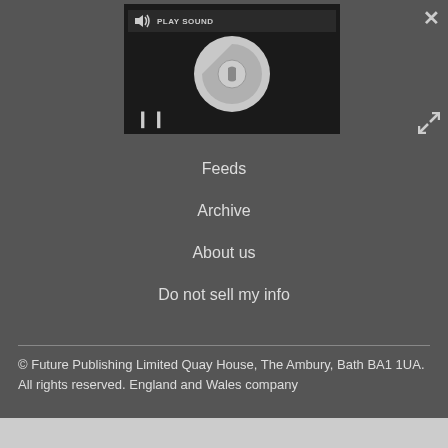[Figure (screenshot): Media player with play sound button, spinner/loading indicator, and pause button on dark background]
Feeds
Archive
About us
Do not sell my info
© Future Publishing Limited Quay House, The Ambury, Bath BA1 1UA. All rights reserved. England and Wales company